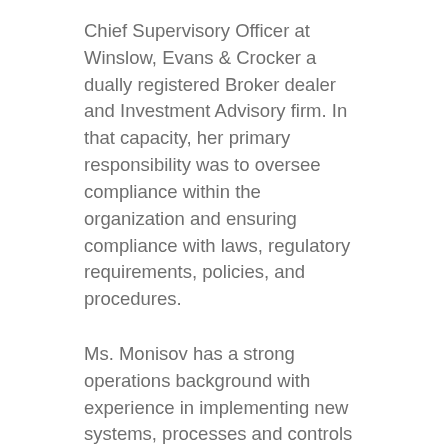Chief Supervisory Officer at Winslow, Evans & Crocker a dually registered Broker dealer and Investment Advisory firm. In that capacity, her primary responsibility was to oversee compliance within the organization and ensuring compliance with laws, regulatory requirements, policies, and procedures.
Ms. Monisov has a strong operations background with experience in implementing new systems, processes and controls that significantly improve operations. She is also well versed in Fiduciary/Trust Administration.
Alina earned a BS from Boston University School of Management and an MBA from University of Massachusetts Boston. Alina also